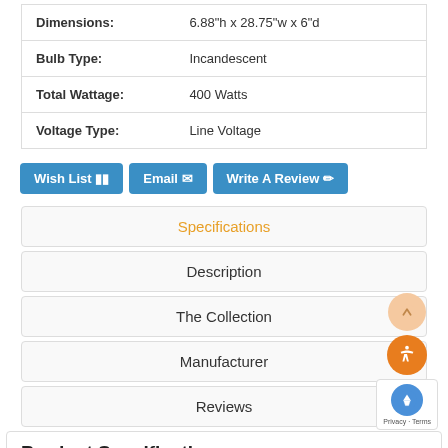| Dimensions: | 6.88"h x 28.75"w x 6"d |
| Bulb Type: | Incandescent |
| Total Wattage: | 400 Watts |
| Voltage Type: | Line Voltage |
Wish List
Email
Write A Review
Specifications
Description
The Collection
Manufacturer
Reviews
Product Specifications